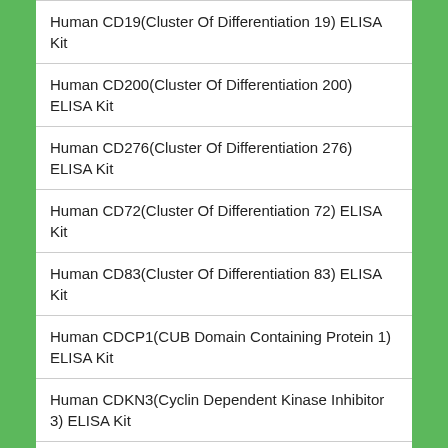Human CD19(Cluster Of Differentiation 19) ELISA Kit
Human CD200(Cluster Of Differentiation 200) ELISA Kit
Human CD276(Cluster Of Differentiation 276) ELISA Kit
Human CD72(Cluster Of Differentiation 72) ELISA Kit
Human CD83(Cluster Of Differentiation 83) ELISA Kit
Human CDCP1(CUB Domain Containing Protein 1) ELISA Kit
Human CDKN3(Cyclin Dependent Kinase Inhibitor 3) ELISA Kit
Human CEACAM1(Carcinoembryonic Antigen Related...